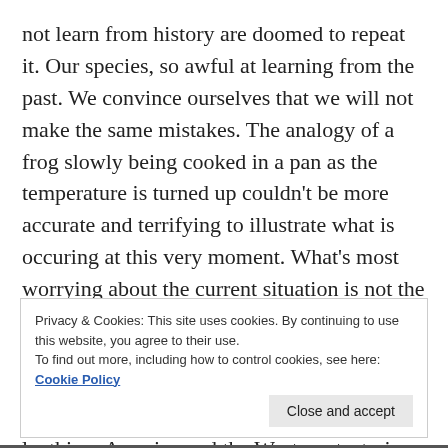not learn from history are doomed to repeat it. Our species, so awful at learning from the past. We convince ourselves that we will not make the same mistakes. The analogy of a frog slowly being cooked in a pan as the temperature is turned up couldn't be more accurate and terrifying to illustrate what is occuring at this very moment. What's most worrying about the current situation is not the stark similarities to the 1930s, the stock market crash, and a looming depression, but the dark nature of humans. Human history is filled with tales of corruption, fear and loathing. America and the West are teetering on the edge of complete collapse. The coronavirus may have been the spark, but the stage was already set for catastrophe. Like a stack of cards. This may not unfold as many of us may suspect, but it will
Privacy & Cookies: This site uses cookies. By continuing to use this website, you agree to their use.
To find out more, including how to control cookies, see here: Cookie Policy
Close and accept